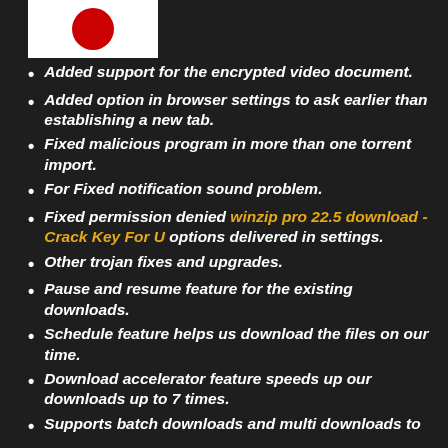[Figure (logo): White rectangle with red circular logo element partially visible]
Added support for the encrypted video document.
Added option in browser settings to ask earlier than establishing a new tab.
Fixed malicious program in more than one torrent import.
For Fixed notification sound problem.
Fixed permission denied winzip pro 22.5 download - Crack Key For U options delivered in settings.
Other trojan fixes and upgrades.
Pause and resume feature for the existing downloads.
Schedule feature helps us download the files on our time.
Download accelerator feature speeds up our downloads up to 7 times.
Supports batch downloads and multi downloads to